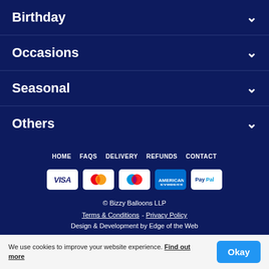Birthday
Occasions
Seasonal
Others
HOME  FAQS  DELIVERY  REFUNDS  CONTACT
© Bizzy Balloons LLP
Terms & Conditions – Privacy Policy
Design & Development by Edge of the Web
We use cookies to improve your website experience. Find out more  Okay